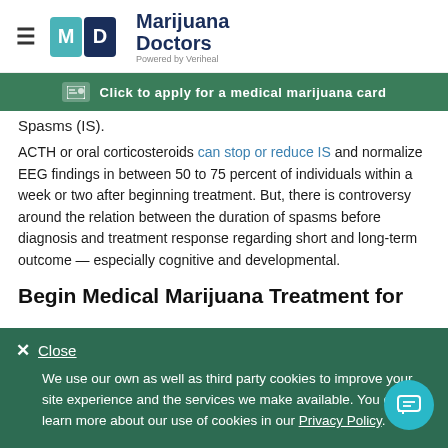Marijuana Doctors — Powered by Veriheal
Click to apply for a medical marijuana card
Spasms (IS).
ACTH or oral corticosteroids can stop or reduce IS and normalize EEG findings in between 50 to 75 percent of individuals within a week or two after beginning treatment. But, there is controversy around the relation between the duration of spasms before diagnosis and treatment response regarding short and long-term outcome — especially cognitive and developmental.
Begin Medical Marijuana Treatment for
Close
We use our own as well as third party cookies to improve your site experience and the services we make available. You can learn more about our use of cookies in our Privacy Policy.